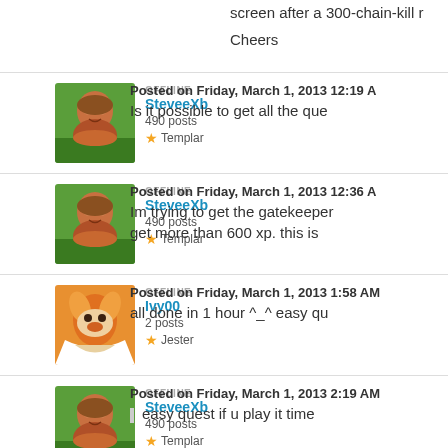screen after a 300-chain-kill r
Cheers
OFFLINE
SteveeXb
490 posts
Templar
Posted on Friday, March 1, 2013 12:19 A
Is it possible to get all the que
OFFLINE
SteveeXb
490 posts
Templar
Posted on Friday, March 1, 2013 12:36 A
Im trying to get the gatekeeper get more than 600 xp. this is
OFFLINE
Ivy00
2 posts
Jester
Posted on Friday, March 1, 2013 1:58 AM
all done in 1 hour ^_^ easy qu
OFFLINE
SteveeXb
490 posts
Templar
Posted on Friday, March 1, 2013 2:19 AM
easy quest if u play it time